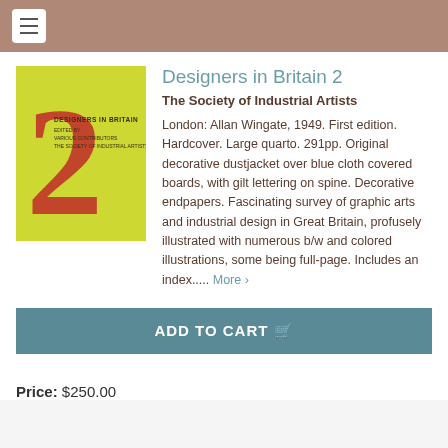[Figure (screenshot): Navigation bar with hamburger menu icon on brownish-pink background]
[Figure (photo): Book cover of 'Designers in Britain 2' showing a large red numeral 2 on yellow-green background with book title text]
Designers in Britain 2
The Society of Industrial Artists
London: Allan Wingate, 1949. First edition. Hardcover. Large quarto. 291pp. Original decorative dustjacket over blue cloth covered boards, with gilt lettering on spine. Decorative endpapers. Fascinating survey of graphic arts and industrial design in Great Britain, profusely illustrated with numerous b/w and colored illustrations, some being full-page. Includes an index..... More >
ADD TO CART
Price: $250.00